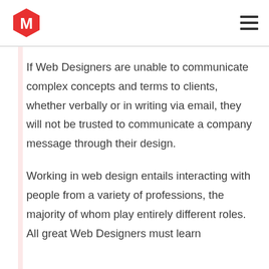M [logo] [hamburger menu]
If Web Designers are unable to communicate complex concepts and terms to clients, whether verbally or in writing via email, they will not be trusted to communicate a company message through their design.
Working in web design entails interacting with people from a variety of professions, the majority of whom play entirely different roles. All great Web Designers must learn